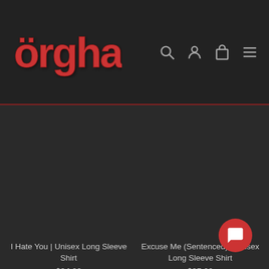[Figure (logo): Orcghard band/store logo in red Gothic metal lettering on dark background]
I Hate You | Unisex Long Sleeve Shirt
$24.00
Excuse Me (Sentenced) | Unisex Long Sleeve Shirt
$25.00